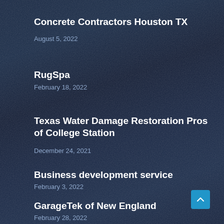Concrete Contractors Houston TX
August 5, 2022
RugSpa
February 18, 2022
Texas Water Damage Restoration Pros of College Station
December 24, 2021
Business development service
February 3, 2022
GarageTek of New England
February 28, 2022